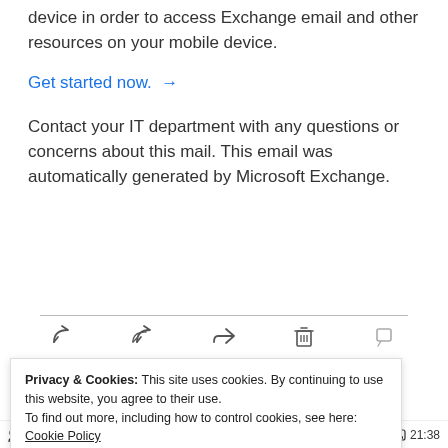device in order to access Exchange email and other resources on your mobile device.
Get started now. →
Contact your IT department with any questions or concerns about this mail. This email was automatically generated by Microsoft Exchange.
[Figure (screenshot): Email toolbar with reply, reply all, forward, delete, and comment icons]
Privacy & Cookies: This site uses cookies. By continuing to use this website, you agree to their use. To find out more, including how to control cookies, see here: Cookie Policy
Close and accept
18% 21:38